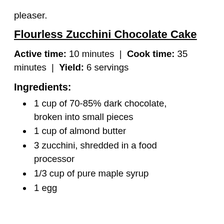pleaser.
Flourless Zucchini Chocolate Cake
Active time: 10 minutes | Cook time: 35 minutes | Yield: 6 servings
Ingredients:
1 cup of 70-85% dark chocolate, broken into small pieces
1 cup of almond butter
3 zucchini, shredded in a food processor
1/3 cup of pure maple syrup
1 egg